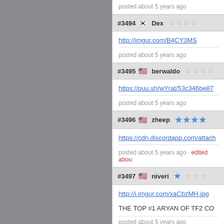posted about 5 years ago
#3494 🇰🇷 Dex ☆☆☆☆
http://imgur.com/B4CY3MS
posted about 5 years ago
#3495 🇺🇸 berwaldo ☆☆☆☆
https://puu.sh/wYrat/53c346be87
posted about 5 years ago
#3496 🇺🇸 zheep ★★★★
https://cdn.discordapp.com/attach
posted about 5 years ago · edited abou
#3497 🇺🇸 niveri ★☆☆☆
http://i.imgur.com/xaCbzMH.jpg
THE TOP #1 ARYAN OF TF2 CO
posted about 5 years ago